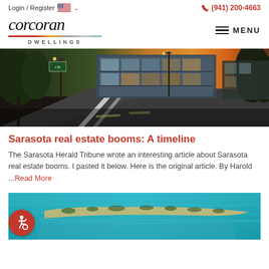Login / Register   (941) 200-4663
[Figure (logo): Corcoran Dwellings logo with italic serif wordmark and multicolor underline]
[Figure (photo): Street-level photo of a modern commercial building at dusk with curved road and warm sunset lighting]
Sarasota real estate booms: A timeline
The Sarasota Herald Tribune wrote an interesting article about Sarasota real estate booms. I pasted it below. Here is the original article. By Harold ...Read More
[Figure (photo): Aerial photo of a sandbar/barrier island with turquoise water, partially cropped at bottom of page; accessibility icon overlay in bottom-left]